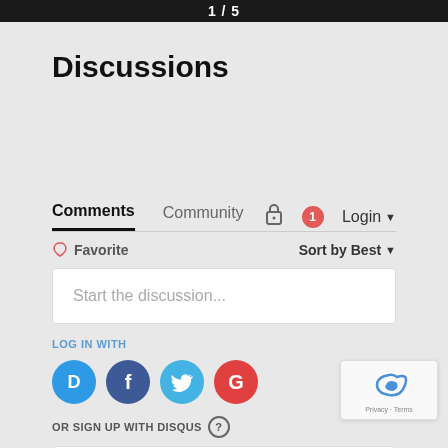1 / 5
Discussions
Comments  Community  🔒  1  Login ▾
♡ Favorite   Sort by Best ▾
Start the discussion...
LOG IN WITH
[Figure (screenshot): Social login icons: Disqus (blue), Facebook (dark blue), Twitter (light blue), Google (red) circular icons]
OR SIGN UP WITH DISQUS ?
[Figure (screenshot): reCAPTCHA widget showing Privacy · Terms]